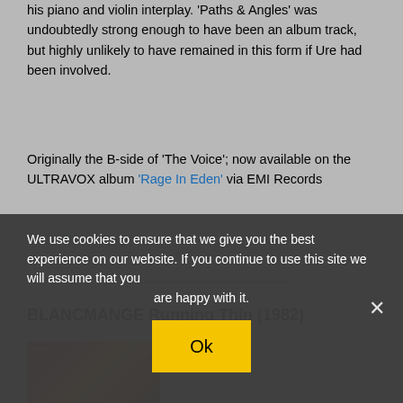his piano and violin interplay. 'Paths & Angles' was undoubtedly strong enough to have been an album track, but highly unlikely to have remained in this form if Ure had been involved.
Originally the B-side of 'The Voice'; now available on the ULTRAVOX album 'Rage In Eden' via EMI Records
www.ultravox.org.uk
BLANCMANGE Running Thin (1982)
[Figure (photo): Album cover artwork showing a jukebox with colorful illustrated figures]
We use cookies to ensure that we give you the best experience on our website. If you continue to use this site we will assume that you are happy with it.